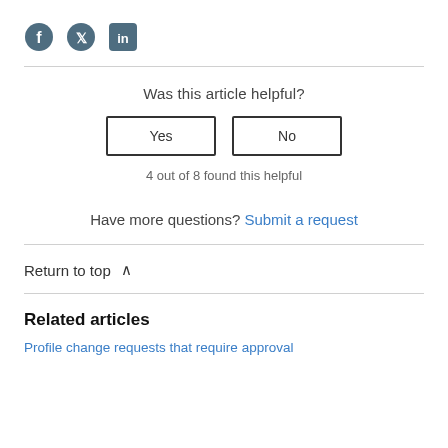[Figure (other): Social media share icons: Facebook, Twitter, LinkedIn]
Was this article helpful?
Yes | No (buttons)
4 out of 8 found this helpful
Have more questions? Submit a request
Return to top ∧
Related articles
Profile change requests that require approval